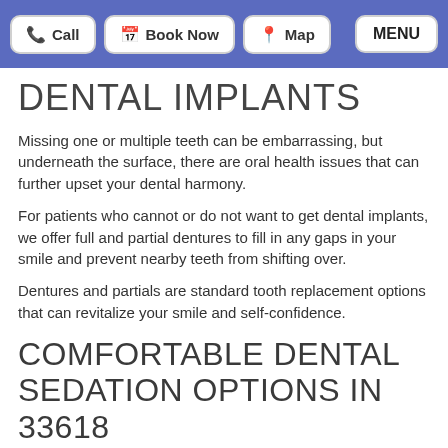Call | Book Now | Map | MENU
DENTAL IMPLANTS
Missing one or multiple teeth can be embarrassing, but underneath the surface, there are oral health issues that can further upset your dental harmony.
For patients who cannot or do not want to get dental implants, we offer full and partial dentures to fill in any gaps in your smile and prevent nearby teeth from shifting over.
Dentures and partials are standard tooth replacement options that can revitalize your smile and self-confidence.
COMFORTABLE DENTAL SEDATION OPTIONS IN 33618
No matter what treatments you decide to include in your